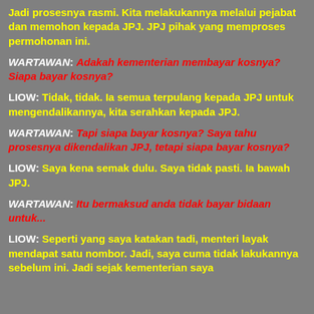Jadi prosesnya rasmi. Kita melakukannya melalui pejabat dan memohon kepada JPJ. JPJ pihak yang memproses permohonan ini.
WARTAWAN: Adakah kementerian membayar kosnya? Siapa bayar kosnya?
LIOW: Tidak, tidak. Ia semua terpulang kepada JPJ untuk mengendalikannya, kita serahkan kepada JPJ.
WARTAWAN: Tapi siapa bayar kosnya? Saya tahu prosesnya dikendalikan JPJ, tetapi siapa bayar kosnya?
LIOW: Saya kena semak dulu. Saya tidak pasti. Ia bawah JPJ.
WARTAWAN: Itu bermaksud anda tidak bayar bidaan untuk...
LIOW: Seperti yang saya katakan tadi, menteri layak mendapat satu nombor. Jadi, saya cuma tidak lakukannya sebelum ini. Jadi sejak kementerian saya